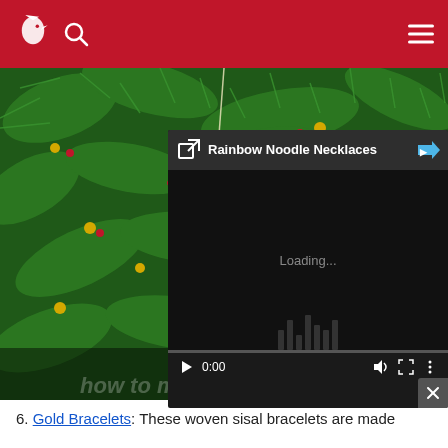[Figure (screenshot): Red website header bar with white bird logo, search icon, and hamburger menu icon on right]
[Figure (photo): Christmas tree with green pine branches, a red beaded triangle ornament hanging from a golden string, photographed close up]
[Figure (screenshot): Embedded video player overlay with dark background, title bar reading 'Rainbow Noodle Necklaces', loading text, video controls showing 0:00, volume, fullscreen, and more options buttons, with a close X button]
6. Gold Bracelets: These woven sisal bracelets are made